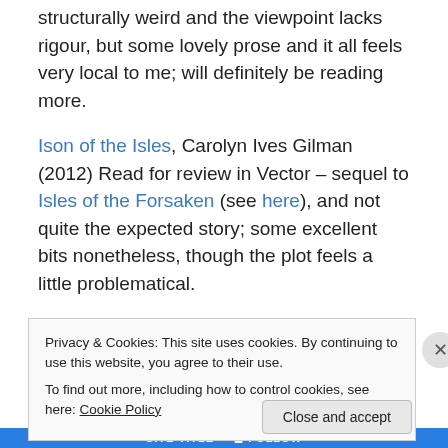structurally weird and the viewpoint lacks rigour, but some lovely prose and it all feels very local to me; will definitely be reading more.
Ison of the Isles, Carolyn Ives Gilman (2012) Read for review in Vector – sequel to Isles of the Forsaken (see here), and not quite the expected story; some excellent bits nonetheless, though the plot feels a little problematical.
Starship Winter, Eric Brown (2012) Third in a quartet of seasonal novellas set on the world of Chalcedony;
Privacy & Cookies: This site uses cookies. By continuing to use this website, you agree to their use.
To find out more, including how to control cookies, see here: Cookie Policy